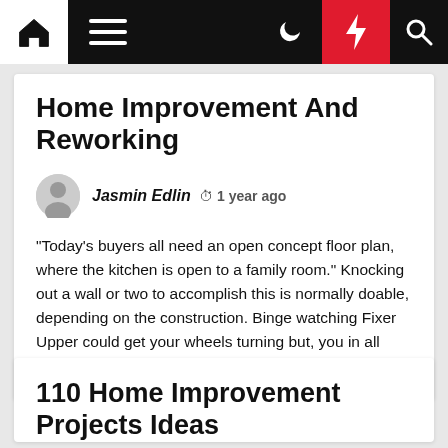Home | Menu | Moon | Bolt | Search
Home Improvement And Reworking
Jasmin Edlin  1 year ago
“Today’s buyers all need an open concept floor plan, where the kitchen is open to a family room.” Knocking out a wall or two to accomplish this is normally doable, depending on the construction. Binge watching Fixer Upper could get your wheels turning but, you in all probability shouldn’t DIY […]
110 Home Improvement Projects Ideas